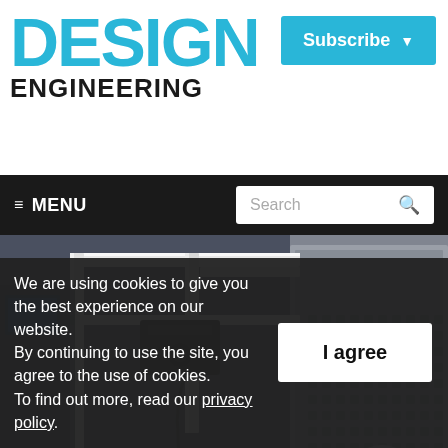DESIGN ENGINEERING
Subscribe
≡ MENU | Search
[Figure (photo): Industrial machinery photo showing a white aluminium frame gantry/robotic device with black mechanical components in a manufacturing environment, with a large grey perforated cabinet in the background]
We are using cookies to give you the best experience on our website.
By continuing to use the site, you agree to the use of cookies.
To find out more, read our privacy policy.
I agree